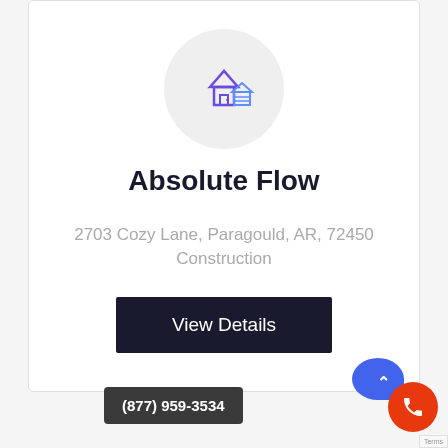[Figure (illustration): House/building icon with purple and blue colors inside a light gray circle]
Absolute Flow
2703 Cozy Lane, Paragould, AR, 72450
Construction
View Details
[Figure (illustration): Second house/building icon with purple and blue colors inside a light gray circle, partially visible at bottom]
(877) 959-3534